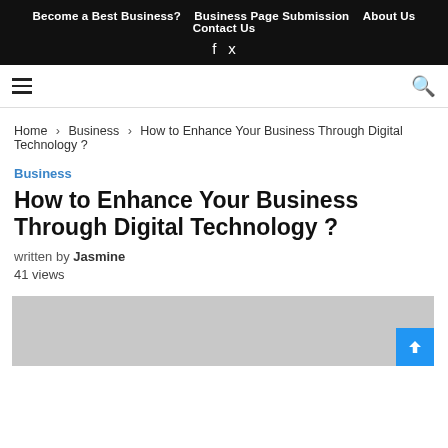Become a Best Business?  Business Page Submission  About Us  Contact Us
written by Jasmine
41 views
Home > Business > How to Enhance Your Business Through Digital Technology ?
Business
How to Enhance Your Business Through Digital Technology ?
written by Jasmine
41 views
[Figure (photo): Gray placeholder featured image]